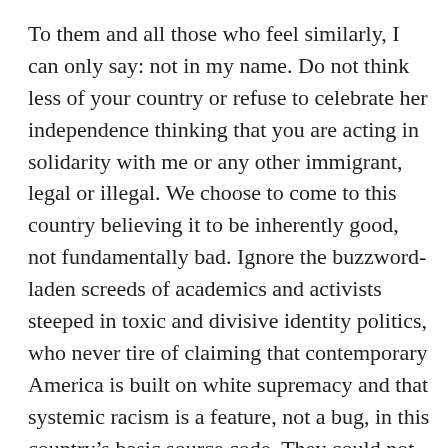To them and all those who feel similarly, I can only say: not in my name. Do not think less of your country or refuse to celebrate her independence thinking that you are acting in solidarity with me or any other immigrant, legal or illegal. We choose to come to this country believing it to be inherently good, not fundamentally bad. Ignore the buzzword-laden screeds of academics and activists steeped in toxic and divisive identity politics, who never tire of claiming that contemporary America is built on white supremacy and that systemic racism is a feature, not a bug, in this country's basic source code. They could not be more wrong.
We immigrants understand that America is flawed like every other country, but is also a work in progress toward a noble goal which few other countries even bother to